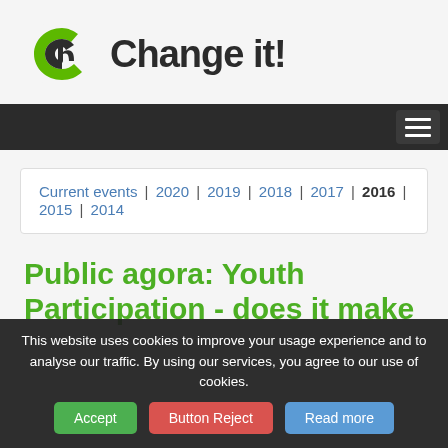[Figure (logo): Change it! logo with green swirl icon and bold dark text reading 'Change it!']
[Figure (other): Dark navigation bar with hamburger menu icon on the right]
Current events | 2020 | 2019 | 2018 | 2017 | 2016 | 2015 | 2014
Public agora: Youth Participation - does it make
This website uses cookies to improve your usage experience and to analyse our traffic. By using our services, you agree to our use of cookies.
Accept | Button Reject | Read more